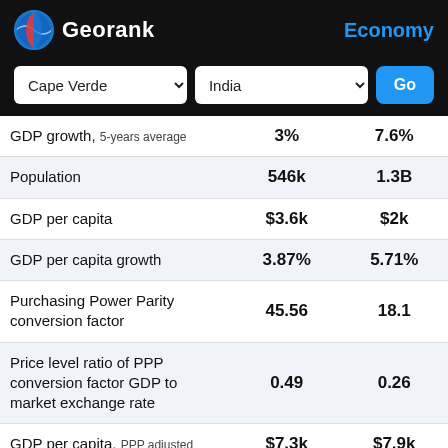Georank — Economy
Cape Verde | India | Go
| Indicator | Cape Verde | India |
| --- | --- | --- |
| GDP growth, 5-years average | 3% | 7.6% |
| Population | 546k | 1.3B |
| GDP per capita | $3.6k | $2k |
| GDP per capita growth | 3.87% | 5.71% |
| Purchasing Power Parity conversion factor | 45.56 | 18.1 |
| Price level ratio of PPP conversion factor GDP to market exchange rate | 0.49 | 0.26 |
| GDP per capita, PPP adjusted | $7.3k | $7.9k |
| GNI, Atlas method | $1.9B | $2.7T |